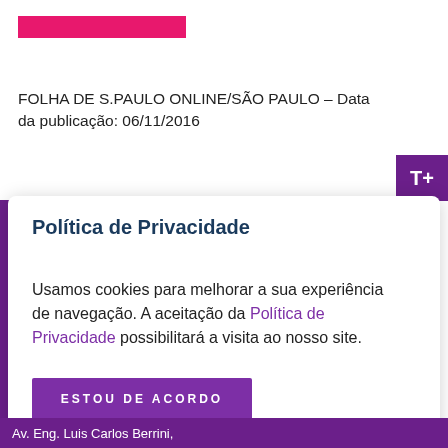[Figure (other): Pink horizontal bar logo/banner element]
FOLHA DE S.PAULO ONLINE/SÃO PAULO – Data da publicação: 06/11/2016
[Figure (other): Purple T+ font size button in top right corner]
Política de Privacidade
Usamos cookies para melhorar a sua experiência de navegação. A aceitação da Política de Privacidade possibilitará a visita ao nosso site.
ESTOU DE ACORDO
Av. Eng. Luis Carlos Berrini,